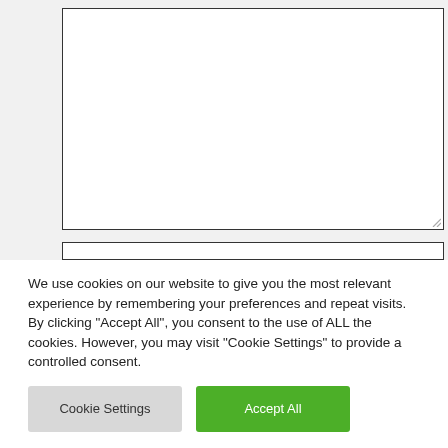[Figure (screenshot): A large empty textarea form element with a resize handle at the bottom-right corner, and a partial single-line text input field below it, on a light grey page background.]
We use cookies on our website to give you the most relevant experience by remembering your preferences and repeat visits. By clicking “Accept All”, you consent to the use of ALL the cookies. However, you may visit “Cookie Settings” to provide a controlled consent.
Cookie Settings
Accept All